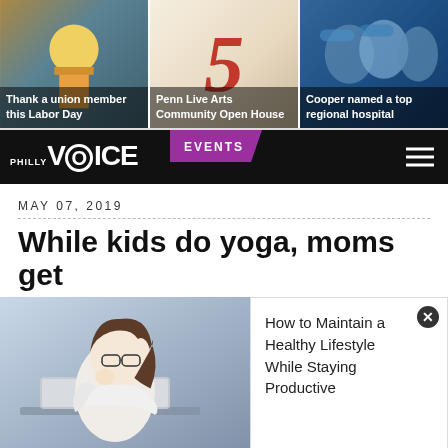[Figure (screenshot): Top strip with three image tiles: construction worker (Thank a union member this Labor Day), arts number 5 (Penn Live Arts Community Open House), hospital surgeons (Cooper named a top regional hospital)]
PHILLY VOICE | EVENTS
MAY 07, 2019
While kids do yoga, moms get
[Figure (photo): Woman with glasses smiling, working on laptop, wearing white long-sleeve shirt]
How to Maintain a Healthy Lifestyle While Staying Productive
PhillyVoice Staff
[Figure (infographic): Rita's Italian Ice advertisement: GO CRAZY FOR NEW KANDI KAPOW!]